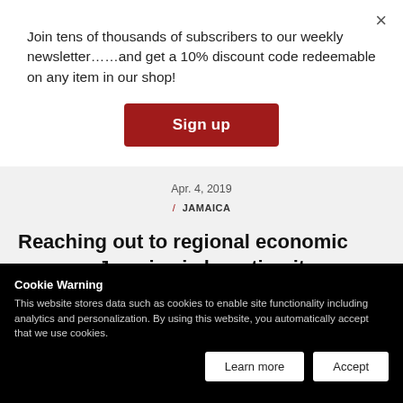Join tens of thousands of subscribers to our weekly newsletter……and get a 10% discount code redeemable on any item in our shop!
Sign up
Apr. 4, 2019
/ JAMAICA
Reaching out to regional economic powers, Jamaica is boosting its commercial ties with Mexico and the Dominican Republic in a number
Cookie Warning
This website stores data such as cookies to enable site functionality including analytics and personalization. By using this website, you automatically accept that we use cookies.
Learn more
Accept